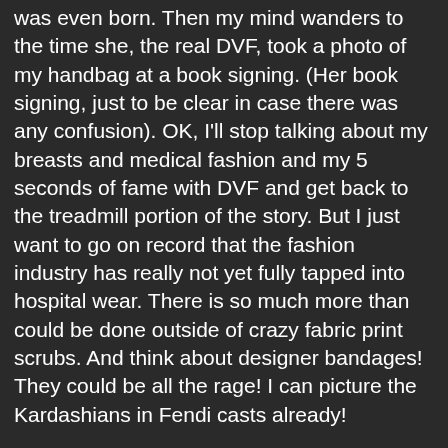was even born. Then my mind wanders to the time she, the real DVF, took a photo of my handbag at a book signing. (Her book signing, just to be clear in case there was any confusion). OK, I'll stop talking about my breasts and medical fashion and my 5 seconds of fame with DVF and get back to the treadmill portion of the story. But I just want to go on record that the fashion industry has really not yet fully tapped into hospital wear. There is so much more than could be done outside of crazy fabric print scrubs. And think about designer bandages! They could be all the rage! I can picture the Kardashians in Fendi casts already!
The goal of the treadmill test, besides passing it obviously, is to go at a set speed and incline. Every 3 minutes it would increase in speed and incline. I was to go until I couldn't go anymore. I always struggle with this part. There isn't a certain amount of “rounds” to aim for, trust me I